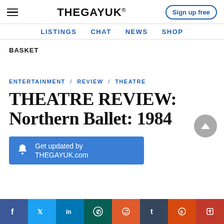THEGAYUK® | Sign up free
LISTINGS  CHAT  NEWS  SHOP
BASKET
ENTERTAINMENT / REVIEW / THEATRE
THEATRE REVIEW: Northern Ballet: 1984
Get updated by THEGAYUK.com